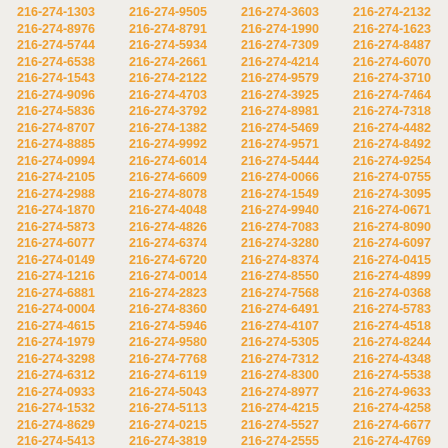216-274-1303 216-274-9505 216-274-3603 216-274-2132 216-274-8976 216-274-8791 216-274-1990 216-274-1623 216-274-5744 216-274-5934 216-274-7309 216-274-8487 216-274-6538 216-274-2661 216-274-4214 216-274-6070 216-274-1543 216-274-2122 216-274-9579 216-274-3710 216-274-9096 216-274-4703 216-274-3925 216-274-7464 216-274-5836 216-274-3792 216-274-8981 216-274-7318 216-274-8707 216-274-1382 216-274-5469 216-274-4482 216-274-8885 216-274-9992 216-274-9571 216-274-8492 216-274-0994 216-274-6014 216-274-5444 216-274-9254 216-274-2105 216-274-6609 216-274-0066 216-274-0755 216-274-2988 216-274-8078 216-274-1549 216-274-3095 216-274-1870 216-274-4048 216-274-9940 216-274-0671 216-274-5873 216-274-4826 216-274-7083 216-274-8090 216-274-6077 216-274-6374 216-274-3280 216-274-6097 216-274-0149 216-274-6720 216-274-8374 216-274-0415 216-274-1216 216-274-0014 216-274-8550 216-274-4899 216-274-6881 216-274-2823 216-274-7568 216-274-0368 216-274-0004 216-274-8360 216-274-6491 216-274-5783 216-274-4615 216-274-5946 216-274-4107 216-274-4518 216-274-1979 216-274-9580 216-274-5305 216-274-8244 216-274-3298 216-274-7768 216-274-7312 216-274-4348 216-274-6312 216-274-6119 216-274-8300 216-274-5538 216-274-0933 216-274-5043 216-274-8977 216-274-9633 216-274-1532 216-274-5113 216-274-4215 216-274-4258 216-274-8629 216-274-0215 216-274-5527 216-274-6677 216-274-5413 216-274-3819 216-274-2555 216-274-4769 216-274-1007 216-274-4235 216-274-9806 216-274-6417 216-274-7402 216-274-3807 216-274-0647 216-274-1081 216-274-2776 216-274-6459 216-274-6600 216-274-0909